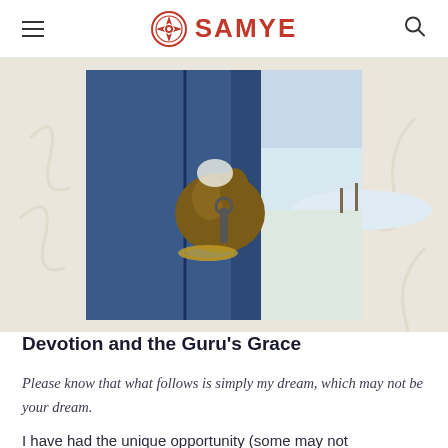SAMYE
[Figure (photo): Close-up photograph of a person's hand holding something, wearing a blue jacket and a bracelet, with a snowy landscape in the background]
Devotion and the Guru's Grace
Please know that what follows is simply my dream, which may not be your dream.
I have had the unique opportunity (some may not